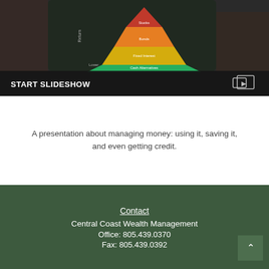[Figure (screenshot): A dark-themed banner showing a person holding a tablet displaying an investment pyramid chart with colored layers (Stocks, Bonds, Fixed Interest, Cash Alternatives). Overlaid at the bottom is a dark bar with 'START SLIDESHOW' text in bold white and a slideshow icon.]
A presentation about managing money: using it, saving it, and even getting credit.
Contact
Central Coast Wealth Management
Office: 805.439.0370
Fax: 805.439.0392